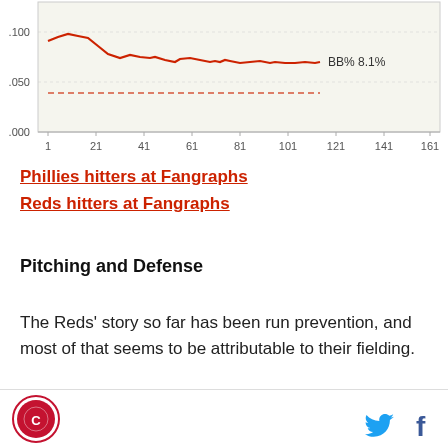[Figure (continuous-plot): Line chart showing BB% over games 1-161, with a red line starting near .100, peaking around game 10-15, then declining and leveling off around .080. A red dashed horizontal reference line is shown at approximately .080. Label reads 'BB% 8.1%'. Y-axis ticks: .000, .050, .100. X-axis ticks: 1, 21, 41, 61, 81, 101, 121, 141, 161.]
Phillies hitters at Fangraphs
Reds hitters at Fangraphs
Pitching and Defense
The Reds' story so far has been run prevention, and most of that seems to be attributable to their fielding.